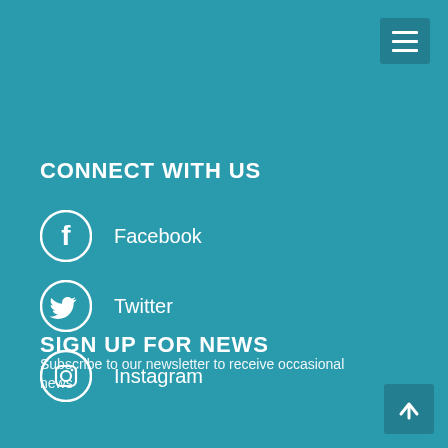CONNECT WITH US
Facebook
Twitter
Instagram
SIGN UP FOR NEWS
Subscribe to our newsletter to receive occasional news